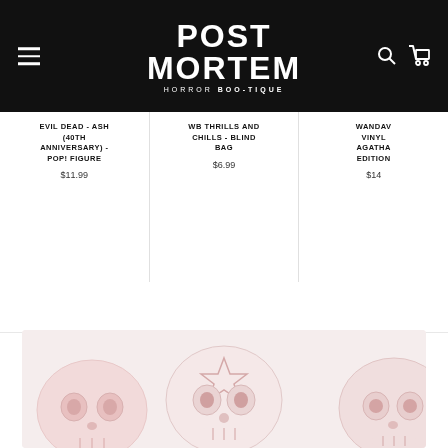[Figure (screenshot): Post Mortem Horror Boo-tique website header with logo, hamburger menu, search and cart icons on black background]
EVIL DEAD - ASH (40TH ANNIVERSARY) - POP! FIGURE
$11.99
WB THRILLS AND CHILLS - BLIND BAG
$6.99
WANDAV VINYL AGATHA EDITION
$14
[Figure (photo): Product image showing cartoon skull vinyl figures in pink/white tones]